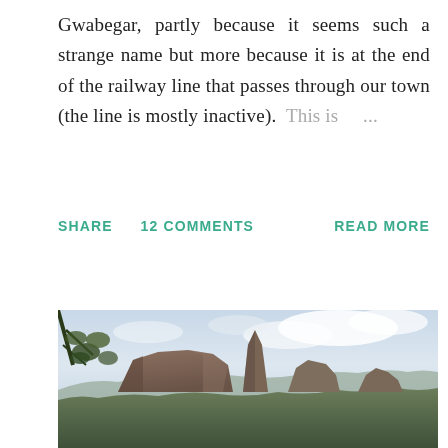Gwabegar, partly because it seems such a strange name but more because it is at the end of the railway line that passes through our town (the line is mostly inactive). This is ...
SHARE   12 COMMENTS   READ MORE
[Figure (photo): Landscape photograph showing dramatic rocky mountain peaks rising above dense green forest, with a cloudy overcast sky and tree branches visible in the foreground left.]